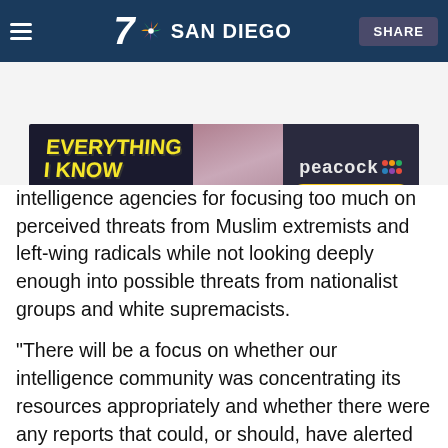[Figure (screenshot): NBC 7 San Diego navigation bar with hamburger menu icon, NBC 7 logo, and SHARE button on dark blue background]
[Figure (screenshot): Peacock streaming service advertisement banner: 'EVERYTHING I KNOW ABOUT LOVE' with STREAM NOW button on dark background with people pictured]
intelligence agencies for focusing too much on perceived threats from Muslim extremists and left-wing radicals while not looking deeply enough into possible threats from nationalist groups and white supremacists.
"There will be a focus on whether our intelligence community was concentrating its resources appropriately and whether there were any reports that could, or should, have alerted them to this attack," Ardern said. "It is important that no stone is left unturned to get to the bottom of how this act of terrorism occurred and what, if any, opportunities we had to stop it."